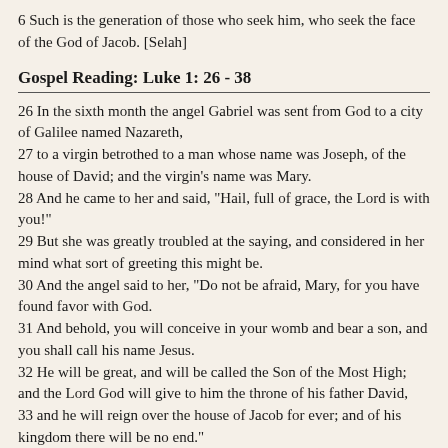6 Such is the generation of those who seek him, who seek the face of the God of Jacob. [Selah]
Gospel Reading: Luke 1: 26 - 38
26 In the sixth month the angel Gabriel was sent from God to a city of Galilee named Nazareth,
27 to a virgin betrothed to a man whose name was Joseph, of the house of David; and the virgin's name was Mary.
28 And he came to her and said, "Hail, full of grace, the Lord is with you!"
29 But she was greatly troubled at the saying, and considered in her mind what sort of greeting this might be.
30 And the angel said to her, "Do not be afraid, Mary, for you have found favor with God.
31 And behold, you will conceive in your womb and bear a son, and you shall call his name Jesus.
32 He will be great, and will be called the Son of the Most High; and the Lord God will give to him the throne of his father David,
33 and he will reign over the house of Jacob for ever; and of his kingdom there will be no end."
34 And Mary said to the angel, "How shall this be, since I have no